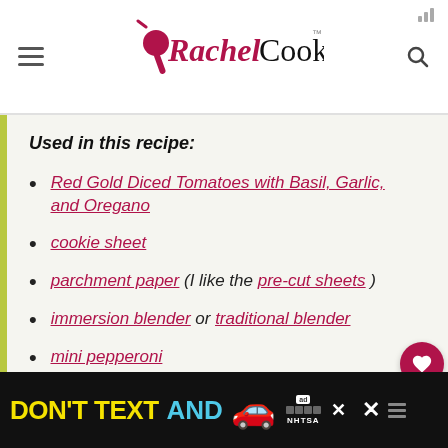Rachel Cooks
Used in this recipe:
Red Gold Diced Tomatoes with Basil, Garlic, and Oregano
cookie sheet
parchment paper (I like the pre-cut sheets)
immersion blender or traditional blender
mini pepperoni
[Figure (screenshot): Ad banner: DON'T TEXT AND [car emoji] ad with NHTSA logo and close button]
DON'T TEXT AND [car] NHTSA advertisement banner